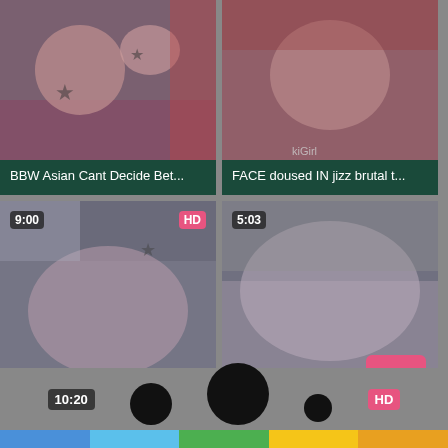[Figure (screenshot): Video thumbnail grid showing adult video thumbnails with titles. Top-left: BBW Asian Cant Decide Bet... Top-right: FACE doused IN jizz brutal t... Bottom-left: Little Asian whore gets thro... (9:00, HD badge). Bottom-right: Asian babe gets deepthroat... (5:03) with scroll-up button. Partial bottom row with 10:20 badge, circles, HD badge.]
BBW Asian Cant Decide Bet...
FACE doused IN jizz brutal t...
Little Asian whore gets thro...
Asian babe gets deepthroat ...